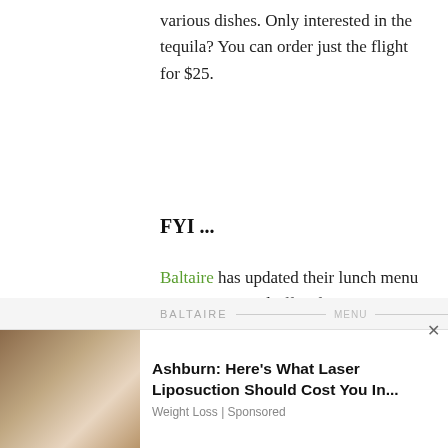various dishes. Only interested in the tequila? You can order just the flight for $25.
FYI ...
Baltaire has updated their lunch menu to a more casual affair featuring sandwiches, seasonal soups and fresh seafood along side mocktails made from freshly squeezed juices and muddled fruits. See the new menu below.
[Figure (other): Advertisement banner: photo of person in medical/aesthetic setting with laser equipment. Ad text: 'Ashburn: Here’s What Laser Liposuction Should Cost You In...' Weight Loss | Sponsored]